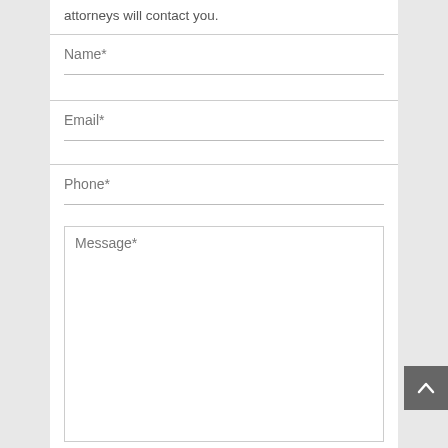attorneys will contact you.
Name*
Email*
Phone*
Message*